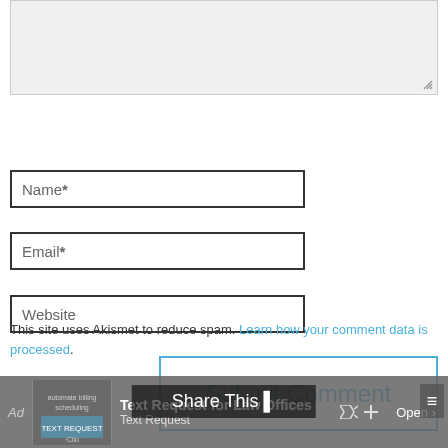[Figure (screenshot): Comment form textarea (top, grayed out background)]
Name *
Email *
Website
Submit Comment
This site uses Akismet to reduce spam. Learn how your comment data is processed.
[Figure (screenshot): Ad banner: Text Request for Law Offices — Open button with share overlay]